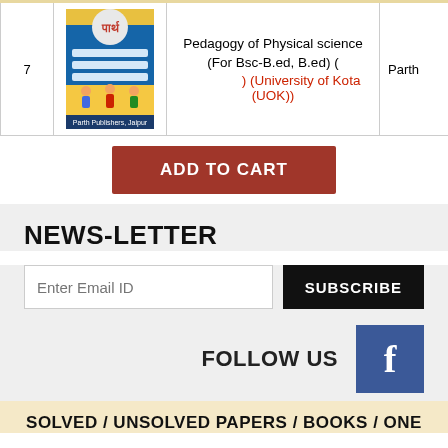| # | Image | Title | Publisher |
| --- | --- | --- | --- |
| 7 | [book image] | Pedagogy of Physical science (For Bsc-B.ed, B.ed) ( ) (University of Kota (UOK)) | Parth |
ADD TO CART
NEWS-LETTER
Enter Email ID
SUBSCRIBE
FOLLOW US
SOLVED / UNSOLVED PAPERS / BOOKS / ONE